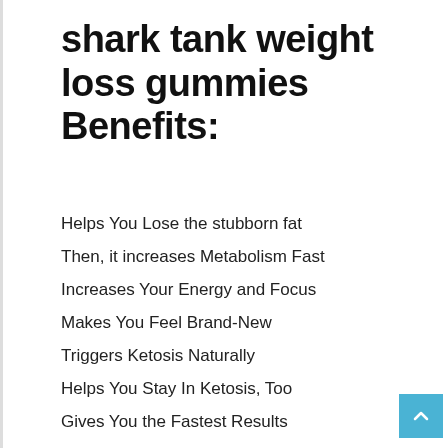shark tank weight loss gummies Benefits:
Helps You Lose the stubborn fat
Then, it increases Metabolism Fast
Increases Your Energy and Focus
Makes You Feel Brand-New
Triggers Ketosis Naturally
Helps You Stay In Ketosis, Too
Gives You the Fastest Results
Uses only natural ingredients